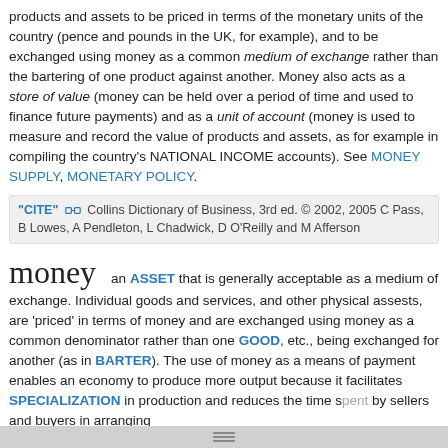products and assets to be priced in terms of the monetary units of the country (pence and pounds in the UK, for example), and to be exchanged using money as a common medium of exchange rather than the bartering of one product against another. Money also acts as a store of value (money can be held over a period of time and used to finance future payments) and as a unit of account (money is used to measure and record the value of products and assets, as for example in compiling the country's NATIONAL INCOME accounts). See MONEY SUPPLY, MONETARY POLICY.
"CITE" ↔ Collins Dictionary of Business, 3rd ed. © 2002, 2005 C Pass, B Lowes, A Pendleton, L Chadwick, D O'Reilly and M Afferson
money
an ASSET that is generally acceptable as a medium of exchange. Individual goods and services, and other physical assests, are 'priced' in terms of money and are exchanged using money as a common denominator rather than one GOOD, etc., being exchanged for another (as in BARTER). The use of money as a means of payment enables an economy to produce more output because it facilitates SPECIALIZATION in production and reduces the time spent by sellers and buyers in arranging